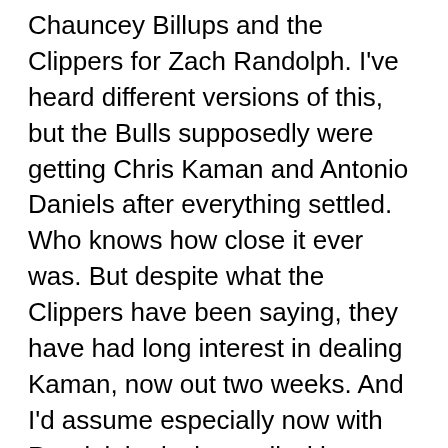Chauncey Billups and the Clippers for Zach Randolph. I've heard different versions of this, but the Bulls supposedly were getting Chris Kaman and Antonio Daniels after everything settled. Who knows how close it ever was. But despite what the Clippers have been saying, they have had long interest in dealing Kaman, now out two weeks. And I'd assume especially now with Randolph playing well with Marcus Camby.
So maybe there are a few deals in there for the Bulls to pursue. I'd go for Kaman, unless the Bulls can get the 2013 season of...